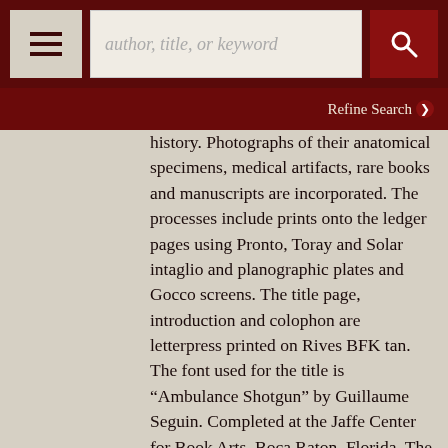author, title, or keyword [search bar] | Refine Search
history. Photographs of their anatomical specimens, medical artifacts, rare books and manuscripts are incorporated. The processes include prints onto the ledger pages using Pronto, Toray and Solar intaglio and planographic plates and Gocco screens. The title page, introduction and colophon are letterpress printed on Rives BFK tan. The font used for the title is “Ambulance Shotgun” by Guillaume Seguin. Completed at the Jaffe Center for Book Arts, Boca Raton, Florida. The book measures 11.5 x 17.25 inches and is housed in a box 12 x 18” inches. 9 pages + title/introduction and colophon. In fine condition. Fine. More›